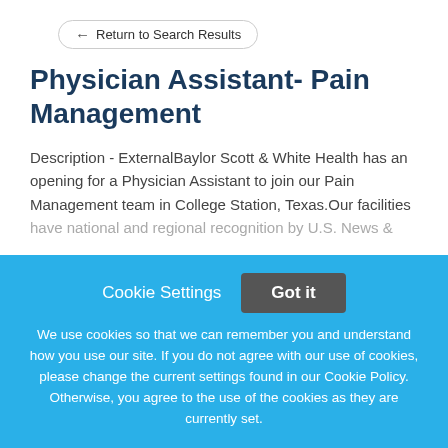Return to Search Results
Physician Assistant- Pain Management
Description - ExternalBaylor Scott & White Health has an opening for a Physician Assistant to join our Pain Management team in College Station, Texas.Our facilities have national and regional recognition by U.S. News &
This job listing is no longer active.
Cookie Settings
Got it
We use cookies so that we can remember you and understand how you use our site. If you do not agree with our use of cookies, please change the current settings found in our Cookie Policy. Otherwise, you agree to the use of the cookies as they are currently set.